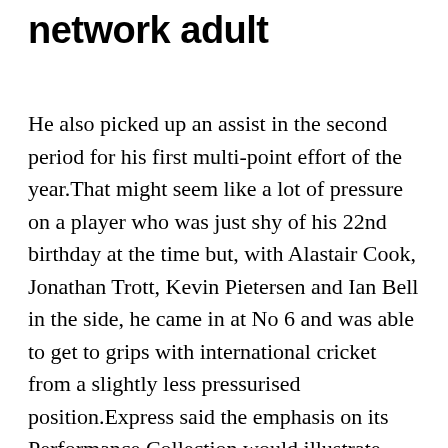network adult
He also picked up an assist in the second period for his first multi-point effort of the year.That might seem like a lot of pressure on a player who was just shy of his 22nd birthday at the time but, with Alastair Cook, Jonathan Trott, Kevin Pietersen and Ian Bell in the side, he came in at No 6 and was able to get to grips with international cricket from a slightly less pressurised position.Express said the emphasis on its Performance Collection would illustrate each Game Changer's persona and journey to becoming a professional athlete, what drives and motivates him, and how fashion gives him the confidence to succeed both on and off the